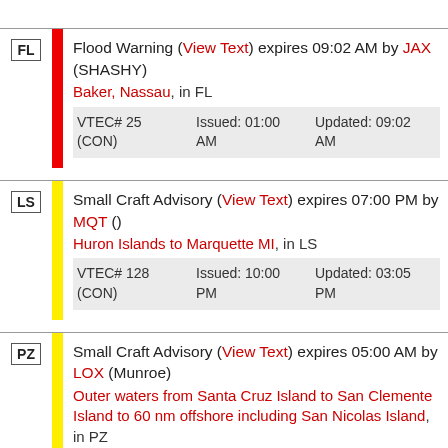| FL | Flood Warning (View Text) expires 09:02 AM by JAX (SHASHY) | Baker, Nassau, in FL | VTEC# 25 (CON) | Issued: 01:00 AM | Updated: 09:02 AM |
| LS | Small Craft Advisory (View Text) expires 07:00 PM by MQT () | Huron Islands to Marquette MI, in LS | VTEC# 128 (CON) | Issued: 10:00 PM | Updated: 03:05 PM |
| PZ | Small Craft Advisory (View Text) expires 05:00 AM by LOX (Munroe) | Outer waters from Santa Cruz Island to San Clemente Island to 60 nm offshore including San Nicolas Island, in PZ |